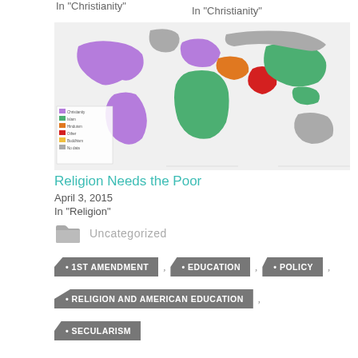In "Christianity"
In "Christianity"
[Figure (map): World map showing religion distribution by country, colored by dominant religion (purple, green, red, orange, gray regions)]
Religion Needs the Poor
April 3, 2015
In "Religion"
Uncategorized
1ST AMENDMENT
EDUCATION
POLICY
RELIGION AND AMERICAN EDUCATION
SECULARISM